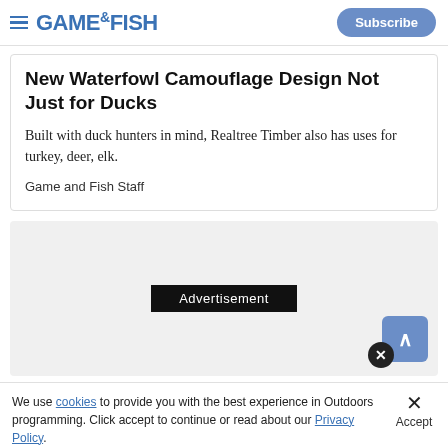GAME&FISH — Subscribe
New Waterfowl Camouflage Design Not Just for Ducks
Built with duck hunters in mind, Realtree Timber also has uses for turkey, deer, elk.
Game and Fish Staff
[Figure (other): Advertisement placeholder banner with grey background]
We use cookies to provide you with the best experience in Outdoors programming. Click accept to continue or read about our Privacy Policy.